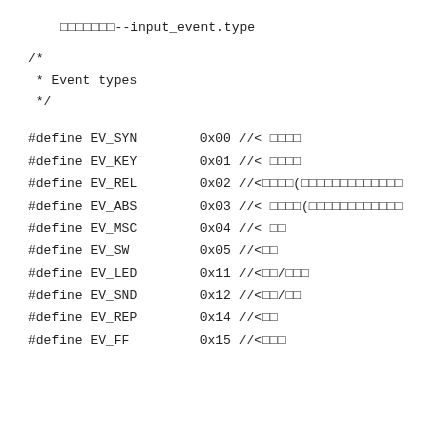□□□□□□□--input_event.type
/*
 * Event types
 */
#define EV_SYN		0x00 //< □□□□
#define EV_KEY		0x01 //< □□□□
#define EV_REL		0x02 //<□□□□(□□□□□□□□□□□□□
#define EV_ABS		0x03 //< □□□□(□□□□□□□□□□□□
#define EV_MSC		0x04 //< □□
#define EV_SW		0x05 //<□□
#define EV_LED		0x11 //<□□/□□□
#define EV_SND		0x12 //<□□/□□
#define EV_REP		0x14 //<□□
#define EV_FF		0x15 //<□□□